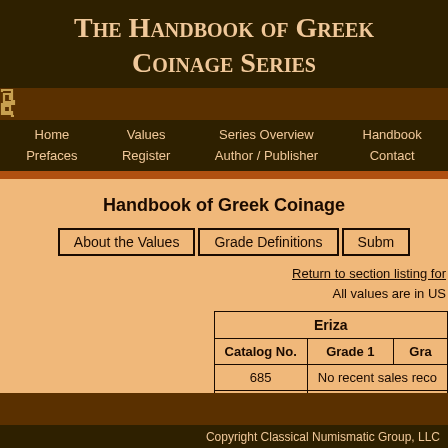The Handbook of Greek Coinage Series
Home  Values  Series Overview  Handbook  Prefaces  Register  Author / Publisher  Contact
Handbook of Greek Coinage
About the Values | Grade Definitions | Subm...
Return to section listing for...
All values are in US...
| Eriza |  |  |
| --- | --- | --- |
| Catalog No. | Grade 1 | Gra... |
| 685 | No recent sales reco... |  |
| 686 | No recent sales reco... |  |
Copyright Classical Numismatic Group, LLC